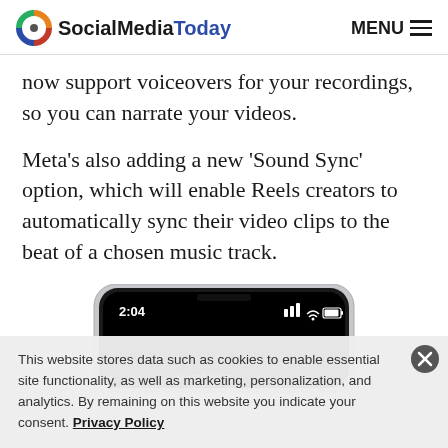SocialMediaToday — MENU
now support voiceovers for your recordings, so you can narrate your videos.
Meta's also adding a new 'Sound Sync' option, which will enable Reels creators to automatically sync their video clips to the beat of a chosen music track.
[Figure (screenshot): Screenshot of a smartphone showing time 2:04 and the beginning of a 'Sound Sync' screen in the Instagram Reels editor]
This website stores data such as cookies to enable essential site functionality, as well as marketing, personalization, and analytics. By remaining on this website you indicate your consent. Privacy Policy